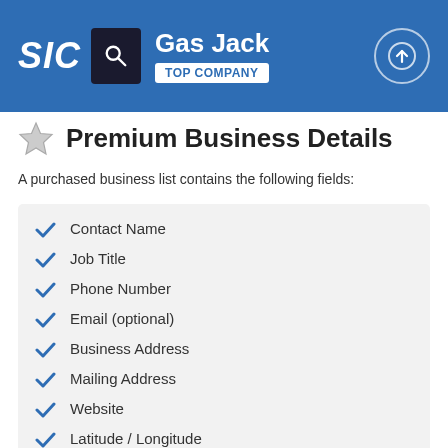SIC | Gas Jack | TOP COMPANY
Premium Business Details
A purchased business list contains the following fields:
Contact Name
Job Title
Phone Number
Email (optional)
Business Address
Mailing Address
Website
Latitude / Longitude
Modeled Credit Rating
Square Footage
Public / Private